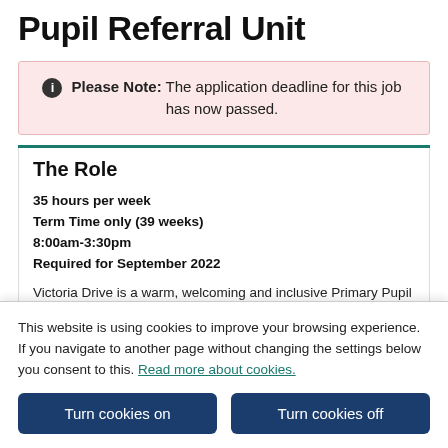Pupil Referral Unit
Please Note: The application deadline for this job has now passed.
The Role
35 hours per week
Term Time only (39 weeks)
8:00am-3:30pm
Required for September 2022
Victoria Drive is a warm, welcoming and inclusive Primary Pupil Referral Unit that prides itself on the highly effective working partnership with Wandsworth Primary Schools. It provides expert
This website is using cookies to improve your browsing experience. If you navigate to another page without changing the settings below you consent to this. Read more about cookies.
Turn cookies on
Turn cookies off
We are looking for an Admin Assistant to be a key member of the